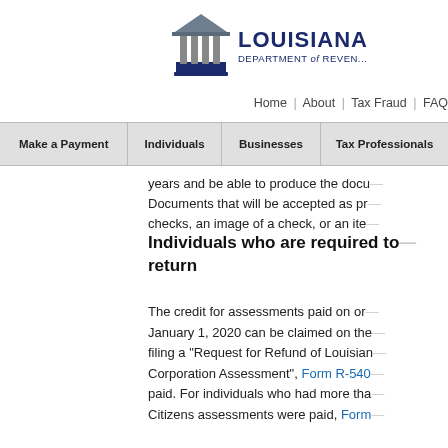LOUISIANA DEPARTMENT OF REVENUE — Logo and navigation header
years and be able to produce the docu... Documents that will be accepted as pr... checks, an image of a check, or an ite...
Individuals who are required to... return
The credit for assessments paid on or... January 1, 2020 can be claimed on the... filing a "Request for Refund of Louisian... Corporation Assessment", Form R-540... paid. For individuals who had more tha... Citizens assessments were paid, Form...